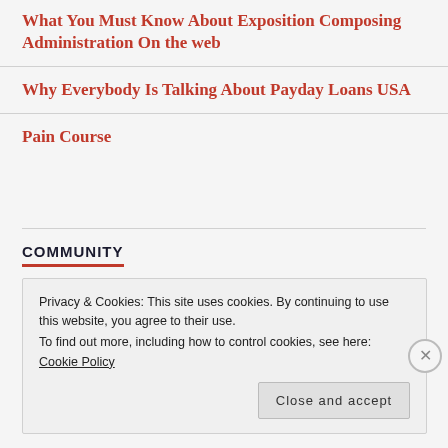What You Must Know About Exposition Composing Administration On the web
Why Everybody Is Talking About Payday Loans USA
Pain Course
COMMUNITY
Privacy & Cookies: This site uses cookies. By continuing to use this website, you agree to their use.
To find out more, including how to control cookies, see here: Cookie Policy
Close and accept